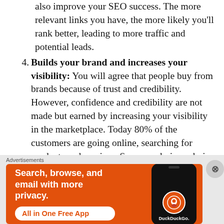also improve your SEO success. The more relevant links you have, the more likely you'll rank better, leading to more traffic and potential leads.
4. Builds your brand and increases your visibility: You will agree that people buy from brands because of trust and credibility. However, confidence and credibility are not made but earned by increasing your visibility in the marketplace. Today 80% of the customers are going online, searching for products and services. So, your obvious choice of advertising will be the online platforms. Still, all your advertising efforts can go in vain if you have ignored building your brand visibility on the online platforms. Thus, you
Advertisements
[Figure (screenshot): DuckDuckGo advertisement banner with orange background. Text reads: Search, browse, and email with more privacy. All in One Free App. Shows a smartphone with the DuckDuckGo logo.]